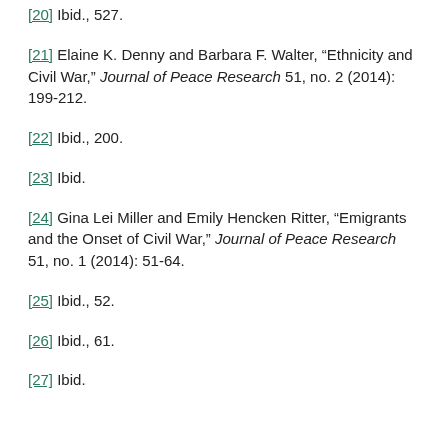[20] Ibid., 527.
[21] Elaine K. Denny and Barbara F. Walter, “Ethnicity and Civil War,” Journal of Peace Research 51, no. 2 (2014): 199-212.
[22] Ibid., 200.
[23] Ibid.
[24] Gina Lei Miller and Emily Hencken Ritter, “Emigrants and the Onset of Civil War,” Journal of Peace Research 51, no. 1 (2014): 51-64.
[25] Ibid., 52.
[26] Ibid., 61.
[27] Ibid.